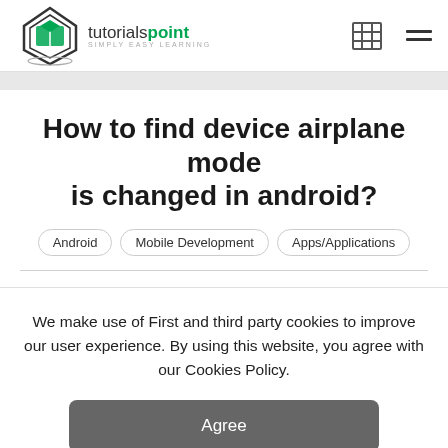tutorialspoint - SIMPLY EASY LEARNING
How to find device airplane mode is changed in android?
Android
Mobile Development
Apps/Applications
We make use of First and third party cookies to improve our user experience. By using this website, you agree with our Cookies Policy.
Agree
Learn more